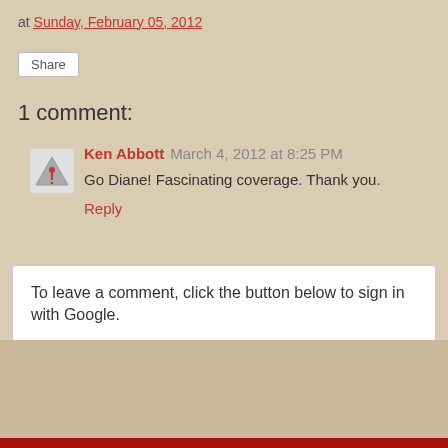at Sunday, February 05, 2012
Share
1 comment:
Ken Abbott March 4, 2012 at 8:25 PM
Go Diane! Fascinating coverage. Thank you.
Reply
To leave a comment, click the button below to sign in with Google.
SIGN IN WITH GOOGLE
‹
Home
›
View web version